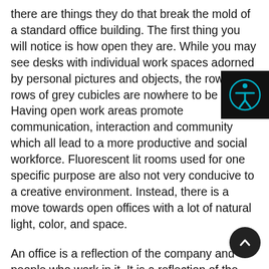there are things they do that break the mold of a standard office building. The first thing you will notice is how open they are. While you may see desks with individual work spaces adorned by personal pictures and objects, the rows and rows of grey cubicles are nowhere to be found. Having open work areas promote communication, interaction and community which all lead to a more productive and social workforce. Fluorescent lit rooms used for one specific purpose are also not very conducive to a creative environment. Instead, there is a move towards open offices with a lot of natural light, color, and space.
An office is a reflection of the company and people who work in it. It is a reflection of the brand, culture, and work produced by the company. Having examples of work, indicators of a companies values, and items that reflect the brand